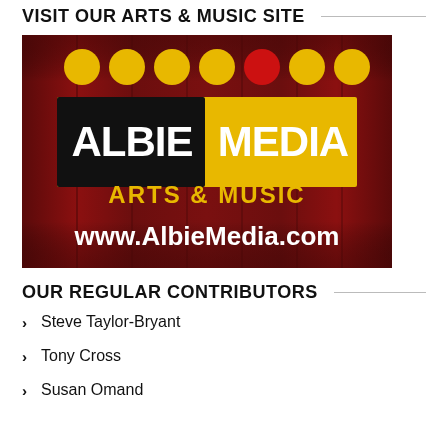VISIT OUR ARTS & MUSIC SITE
[Figure (logo): AlbieMedia Arts & Music logo on dark red curtain background with yellow and red circles at top, showing 'ALBIEMEDIA ARTS & MUSIC' text and website www.AlbieMedia.com]
OUR REGULAR CONTRIBUTORS
Steve Taylor-Bryant
Tony Cross
Susan Omand